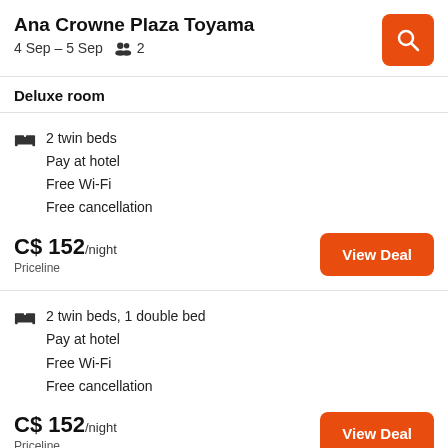Ana Crowne Plaza Toyama
4 Sep – 5 Sep  2
Deluxe room
2 twin beds
Pay at hotel
Free Wi-Fi
Free cancellation
C$ 152/night
Priceline
2 twin beds, 1 double bed
Pay at hotel
Free Wi-Fi
Free cancellation
C$ 152/night
Priceline
2 twin beds
Pay at hotel